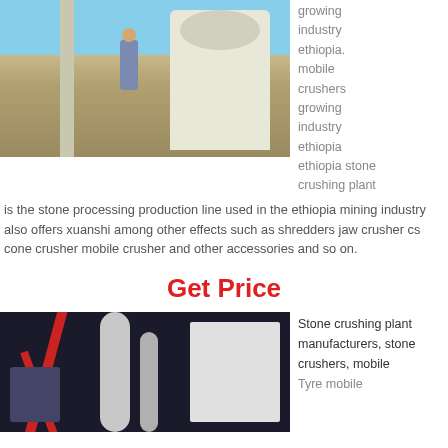[Figure (photo): Industrial stone crushing machine outdoors with a person standing on it, blue sky background]
growing industry ethiopia. mobile crushers growing industry ethiopia ethiopia stone crushing plant
is the stone processing production line used in the ethiopia mining industry also offers xuanshi among other effects such as shredders jaw crusher cs cone crusher mobile crusher and other accessories and so on.
Get Price
[Figure (photo): Stone crushing plant machinery inside a warehouse with red structural beams and white equipment]
Stone crushing plant manufacturers, stone crushers, mobile Tyre mobile